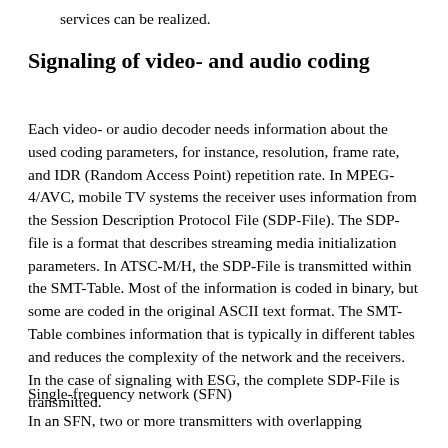services can be realized.
Signaling of video- and audio coding
Each video- or audio decoder needs information about the used coding parameters, for instance, resolution, frame rate, and IDR (Random Access Point) repetition rate. In MPEG-4/AVC, mobile TV systems the receiver uses information from the Session Description Protocol File (SDP-File). The SDP-file is a format that describes streaming media initialization parameters. In ATSC-M/H, the SDP-File is transmitted within the SMT-Table. Most of the information is coded in binary, but some are coded in the original ASCII text format. The SMT-Table combines information that is typically in different tables and reduces the complexity of the network and the receivers. In the case of signaling with ESG, the complete SDP-File is transmitted.
Single-frequency network (SFN)
In an SFN, two or more transmitters with overlapping